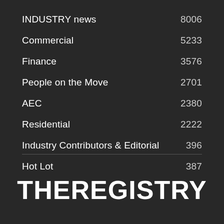INDUSTRY news  8006
Commercial  5233
Finance  3576
People on the Move  2701
AEC  2380
Residential  2222
Industry Contributors & Editorial  396
Hot Lot  387
THEREGISTRY